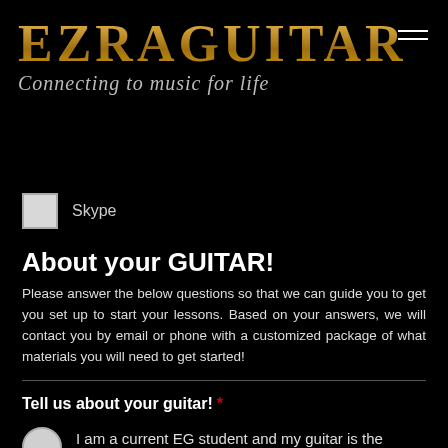EZRAGUITAR Connecting to music for life
Skype
About your GUITAR!
Please answer the below questions so that we can guide you to get you set up to start your lessons. Based on your answers, we will contact you by email or phone with a customized package of what materials you will need to get started!
Tell us about your guitar! *
I am a current EG student and my guitar is the perfect size!
I am a current EG student and my guitar seems to now be too